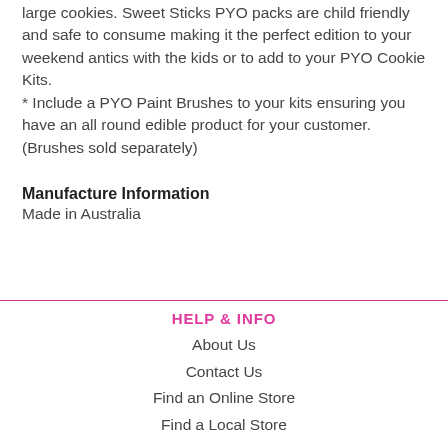large cookies. Sweet Sticks PYO packs are child friendly and safe to consume making it the perfect edition to your weekend antics with the kids or to add to your PYO Cookie Kits.
* Include a PYO Paint Brushes to your kits ensuring you have an all round edible product for your customer. (Brushes sold separately)
Manufacture Information
Made in Australia
HELP & INFO
About Us
Contact Us
Find an Online Store
Find a Local Store